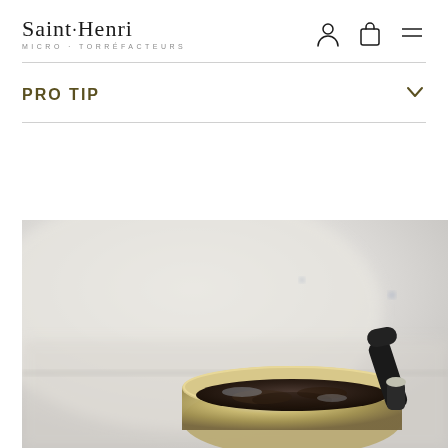Saint·Henri MICRO-TORRÉFACTEURS
PRO TIP
[Figure (photo): Close-up photo of a silver gooseneck kettle spout over a portafilter filled with wet coffee grounds, set against a blurred white background.]